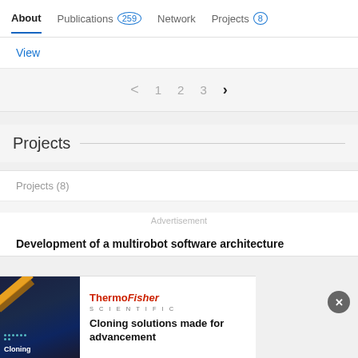About  Publications 259  Network  Projects 8
View
< 1 2 3 >
Projects
Projects (8)
Development of a multirobot software architecture
Advertisement
[Figure (photo): ThermoFisher Scientific advertisement banner with dark blue background showing cloning imagery]
Cloning solutions made for advancement